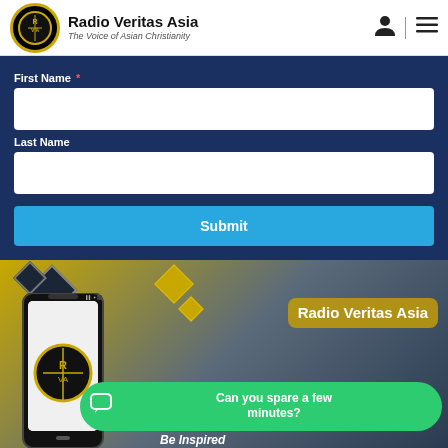Radio Veritas Asia — The Voice of Asian Christianity
First Name *
Last Name
Submit
[Figure (screenshot): Radio Veritas Asia app promotional banner showing a smartphone with the RVA logo, decorative diamond shapes, and the text 'Radio Veritas Asia', 'Be Inspired']
Can you spare a few minutes?